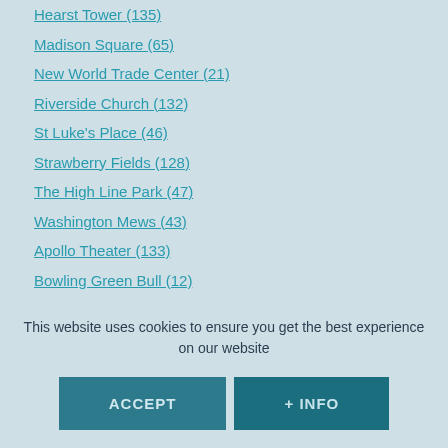Hearst Tower (135)
Madison Square (65)
New World Trade Center (21)
Riverside Church (132)
St Luke's Place (46)
Strawberry Fields (128)
The High Line Park (47)
Washington Mews (43)
Apollo Theater (133)
Bowling Green Bull (12)
Castle Clinton (6)
Church of Our Lady of the Rosary (7)
This website uses cookies to ensure you get the best experience on our website
ACCEPT | + INFO